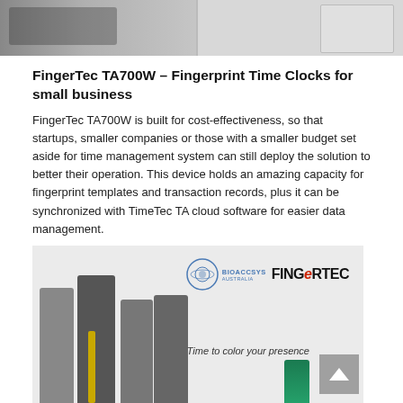[Figure (photo): Top portion of a product/person photo showing a fingerprint time clock device and hands]
FingerTec TA700W – Fingerprint Time Clocks for small business
FingerTec TA700W is built for cost-effectiveness, so that startups, smaller companies or those with a smaller budget set aside for time management system can still deploy the solution to better their operation. This device holds an amazing capacity for fingerprint templates and transaction records, plus it can be synchronized with TimeTec TA cloud software for easier data management.
[Figure (photo): Bioaccsys Australia and FingerTec logo with group of business people and slogan 'Time to color your presence']